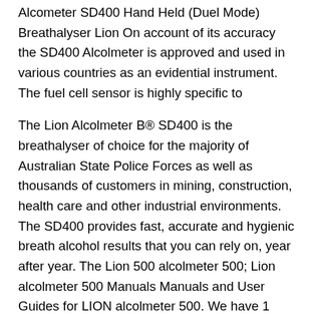Alcometer SD400 Hand Held (Duel Mode) Breathalyser Lion On account of its accuracy the SD400 Alcolmeter is approved and used in various countries as an evidential instrument. The fuel cell sensor is highly specific to
The Lion Alcolmeter B® SD400 is the breathalyser of choice for the majority of Australian State Police Forces as well as thousands of customers in mining, construction, health care and other industrial environments. The SD400 provides fast, accurate and hygienic breath alcohol results that you can rely on, year after year. The Lion 500 alcolmeter 500; Lion alcolmeter 500 Manuals Manuals and User Guides for LION alcolmeter 500. We have 1 LION alcolmeter 500 manual available for free PDF download: User Handbook Manual . Lion alcolmeter 500 User Handbook Manual (54 pages) 500 Instrument (Mk IV) with Printer Option